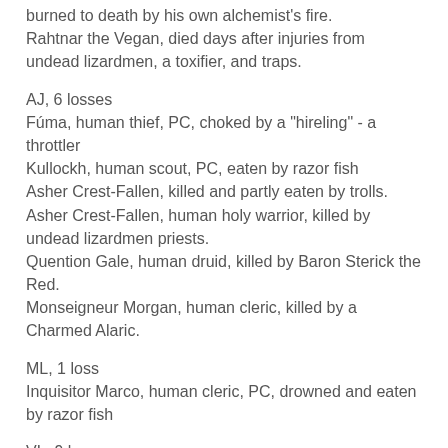burned to death by his own alchemist's fire.
Rahtnar the Vegan, died days after injuries from undead lizardmen, a toxifier, and traps.
AJ, 6 losses
Fúma, human thief, PC, choked by a "hireling" - a throttler
Kullockh, human scout, PC, eaten by razor fish
Asher Crest-Fallen, killed and partly eaten by trolls.
Asher Crest-Fallen, human holy warrior, killed by undead lizardmen priests.
Quention Gale, human druid, killed by Baron Sterick the Red.
Monseigneur Morgan, human cleric, killed by a Charmed Alaric.
ML, 1 loss
Inquisitor Marco, human cleric, PC, drowned and eaten by razor fish
VL, 9 losses
Bjorn Felmanson, killed by undead lizardmen.
Hjalmarr Holgersson, killed by an arachno-warrior in the lost